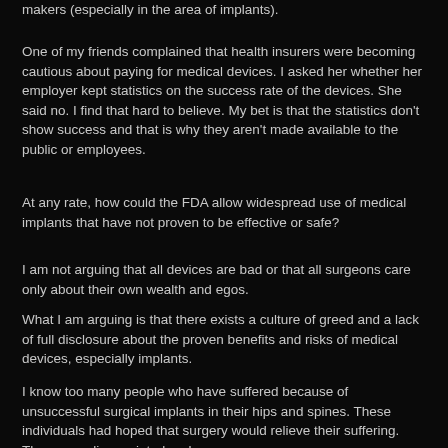makers (especially in the area of implants).
One of my friends complained that health insurers were becoming cautious about paying for medical devices. I asked her whether her employer kept statistics on the success rate of the devices. She said no. I find that hard to believe. My bet is that the statistics don't show success and that is why they aren't made available to the public or employees.
At any rate, how could the FDA allow widespread use of medical implants that have not proven to be effective or safe?
I am not arguing that all devices are bad or that all surgeons care only about their own wealth and egos.
What I am arguing is that there exists a culture of greed and a lack of full disclosure about the proven benefits and risks of medical devices, especially implants.
I know too many people who have suffered because of unsuccessful surgical implants in their hips and spines. These individuals had hoped that surgery would relieve their suffering. They were disappointed and